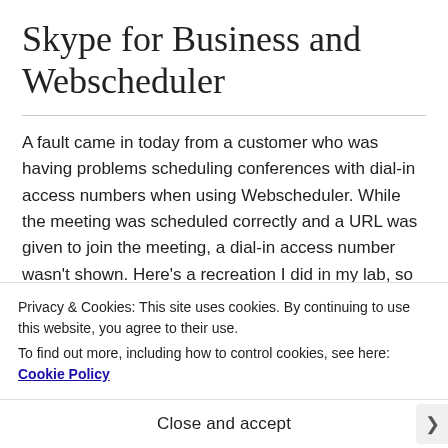Skype for Business and Webscheduler
A fault came in today from a customer who was having problems scheduling conferences with dial-in access numbers when using Webscheduler. While the meeting was scheduled correctly and a URL was given to join the meeting, a dial-in access number wasn't shown. Here's a recreation I did in my lab, so enjoy the pretend numbers and URLs:
Privacy & Cookies: This site uses cookies. By continuing to use this website, you agree to their use.
To find out more, including how to control cookies, see here: Cookie Policy
Close and accept